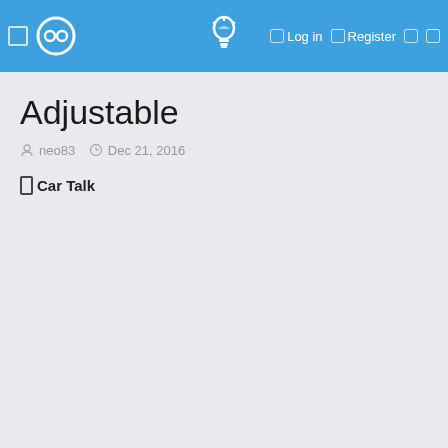Adjustable — Log in   Register
Adjustable
neo83 · Dec 21, 2016
Car Talk